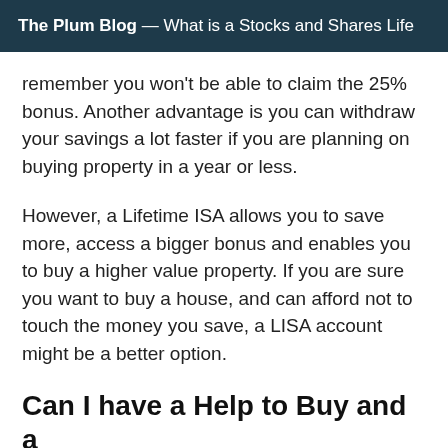The Plum Blog — What is a Stocks and Shares Life
remember you won't be able to claim the 25% bonus. Another advantage is you can withdraw your savings a lot faster if you are planning on buying property in a year or less.
However, a Lifetime ISA allows you to save more, access a bigger bonus and enables you to buy a higher value property. If you are sure you want to buy a house, and can afford not to touch the money you save, a LISA account might be a better option.
Can I have a Help to Buy and a